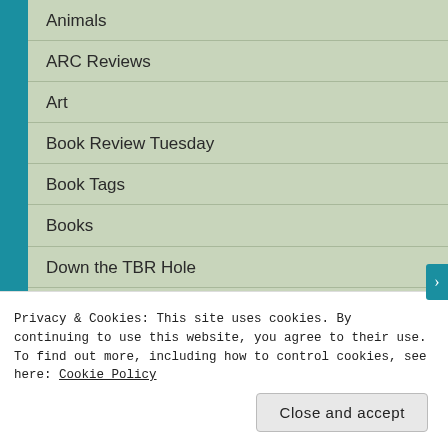Animals
ARC Reviews
Art
Book Review Tuesday
Book Tags
Books
Down the TBR Hole
Geeky Stuff
Goodreads Monday
Privacy & Cookies: This site uses cookies. By continuing to use this website, you agree to their use.
To find out more, including how to control cookies, see here: Cookie Policy
Close and accept